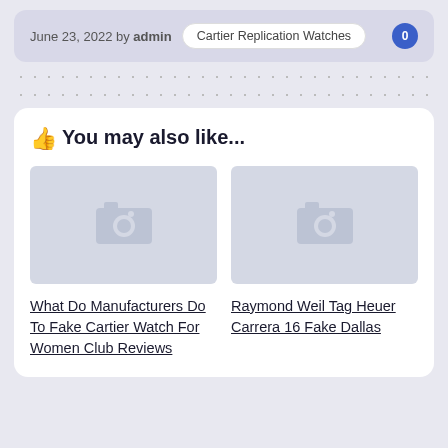June 23, 2022 by admin  Cartier Replication Watches  0
👍 You may also like...
[Figure (photo): Placeholder image thumbnail for 'What Do Manufacturers Do To Fake Cartier Watch For Women Club Reviews']
[Figure (photo): Placeholder image thumbnail for 'Raymond Weil Tag Heuer Carrera 16 Fake Dallas']
What Do Manufacturers Do To Fake Cartier Watch For Women Club Reviews
Raymond Weil Tag Heuer Carrera 16 Fake Dallas